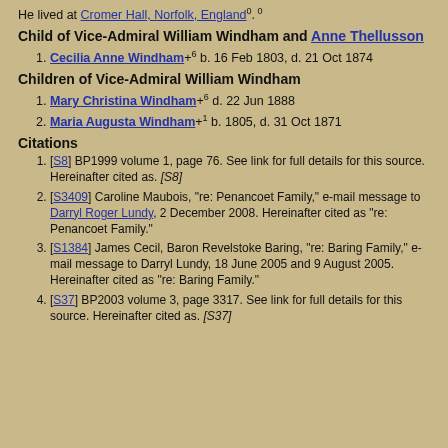He lived at Cromer Hall, Norfolk, England⁰. ⁰
Child of Vice-Admiral William Windham and Anne Thellusson
Cecilia Anne Windham+⁶ b. 16 Feb 1803, d. 21 Oct 1874
Children of Vice-Admiral William Windham
Mary Christina Windham+⁶ d. 22 Jun 1888
Maria Augusta Windham+¹ b. 1805, d. 31 Oct 1871
Citations
[S8] BP1999 volume 1, page 76. See link for full details for this source. Hereinafter cited as. [S8]
[S3409] Caroline Maubois, "re: Penancoet Family," e-mail message to Darryl Roger Lundy, 2 December 2008. Hereinafter cited as "re: Penancoet Family."
[S1384] James Cecil, Baron Revelstoke Baring, "re: Baring Family," e-mail message to Darryl Lundy, 18 June 2005 and 9 August 2005. Hereinafter cited as "re: Baring Family."
[S37] BP2003 volume 3, page 3317. See link for full details for this source. Hereinafter cited as. [S37]